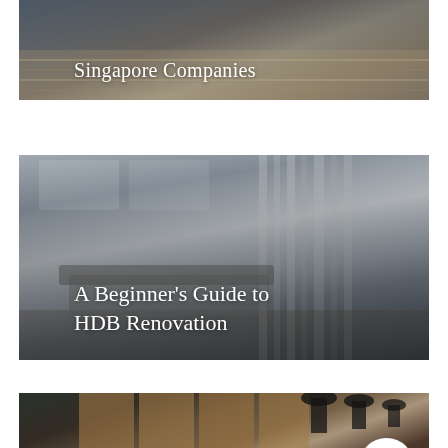[Figure (photo): Interior room photo with text overlay reading 'Singapore Companies']
Singapore Companies
[Figure (photo): Modern minimalist living room interior with grey sofa, white curtains, and city view, with text overlay reading 'A Beginner's Guide to HDB Renovation']
A Beginner's Guide to HDB Renovation
[Figure (photo): Interior kitchen/dining area with wood cabinetry, dark pendant lamps, green tile, and a white circle element, with partial text 'Best Interior Design']
Best Interior Design